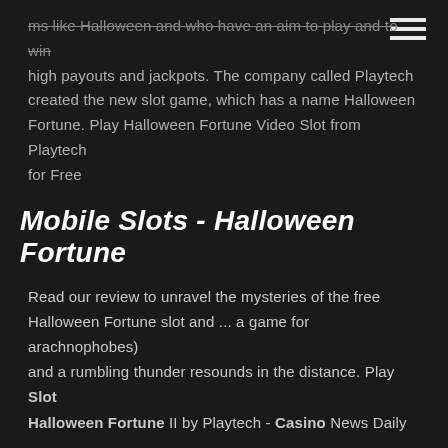hamburger menu icon
...ms like Halloween and who have an aim to play and to win high payouts and jackpots. The company called Playtech created the new slot game, which has a name Halloween Fortune. Play Halloween Fortune Video Slot from Playtech for Free
Mobile Slots - Halloween Fortune
Read our review to unravel the mysteries of the free Halloween Fortune slot and ... a game for arachnophobes) and a rumbling thunder resounds in the distance. Play Slot Halloween Fortune II by Playtech - Casino News Daily